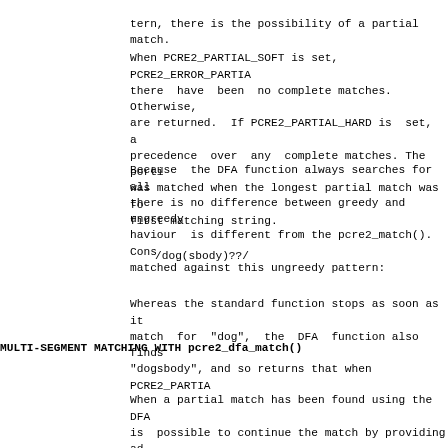tern, there is the possibility of a partial match
When PCRE2_PARTIAL_SOFT is set, PCRE2_ERROR_PARTIA
there  have  been  no complete matches. Otherwise,
are returned.  If PCRE2_PARTIAL_HARD is  set,  a
precedence  over  any  complete matches. The porti
was matched when the longest partial match was  fo
first matching string.
Because  the DFA function always searches for all
there is no difference between greedy and ungreedy
haviour  is different from the pcre2_match(). Cons
matched against this ungreedy pattern:
/dog(sbody)??/
Whereas the standard function stops as soon as it
match  for  "dog",  the  DFA  function also finds
"dogsbody", and so returns that when PCRE2_PARTIA
MULTI-SEGMENT MATCHING WITH pcre2_dfa_match()
When a partial match has been found using the DFA
is  possible to continue the match by providing ad
and calling the function again with the same compi
sion, this time setting the PCRE2_DFA_RESTART opti
same working space as before, because this is whe
vious  partial  match are stored. You can set the
PCRE2_PARTIAL_HARD options with PCRE2_DFA_RESTART
matching over multiple segments. Here is an exampi